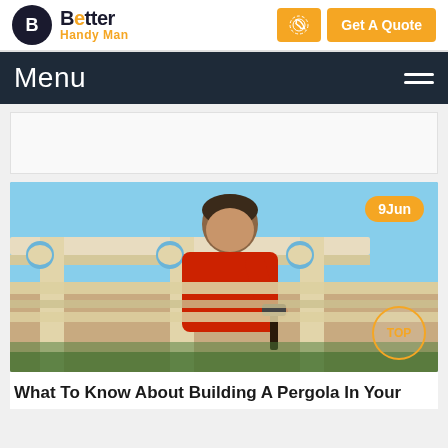Better Handy Man — Get A Quote
Menu
[Figure (photo): Man in red shirt working on building a white pergola structure against a blue sky, holding a hammer]
9Jun
What To Know About Building A Pergola In Your